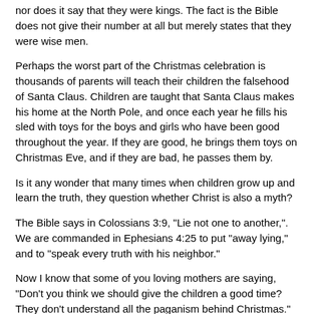nor does it say that they were kings. The fact is the Bible does not give their number at all but merely states that they were wise men.
Perhaps the worst part of the Christmas celebration is thousands of parents will teach their children the falsehood of Santa Claus. Children are taught that Santa Claus makes his home at the North Pole, and once each year he fills his sled with toys for the boys and girls who have been good throughout the year. If they are good, he brings them toys on Christmas Eve, and if they are bad, he passes them by.
Is it any wonder that many times when children grow up and learn the truth, they question whether Christ is also a myth?
The Bible says in Colossians 3:9, "Lie not one to another,". We are commanded in Ephesians 4:25 to put "away lying," and to "speak every truth with his neighbor."
Now I know that some of you loving mothers are saying, "Don't you think we should give the children a good time? They don't understand all the paganism behind Christmas."